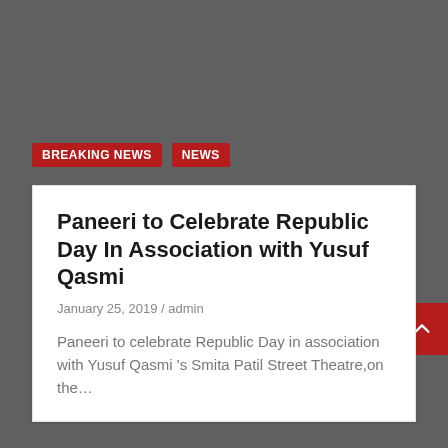BREAKING NEWS | NEWS
Paneeri to Celebrate Republic Day In Association with Yusuf Qasmi
January 25, 2019 / admin
Paneeri to celebrate Republic Day in association with Yusuf Qasmi 's Smita Patil Street Theatre,on the…
[Figure (screenshot): Dark gray background section at the bottom of the page representing a website screenshot with a red scroll-to-top button in the lower right corner.]